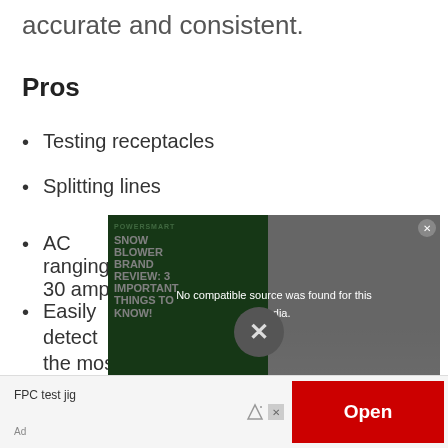accurate and consistent.
Pros
Testing receptacles
Splitting lines
AC ranging 30 amp
Easily detect the most common wiring problems
Has a backlit display for easy reading
[Figure (screenshot): Video overlay showing 'No compatible source was found for this media.' message with an X button, overlaid on a green advertisement for PowerSmart Snow Blower Brand Review and a winter snow blower scene on the right.]
[Figure (screenshot): Advertisement bar at the bottom: FPC test jig text on left with an Open button on the right in red, and Ad label at bottom left.]